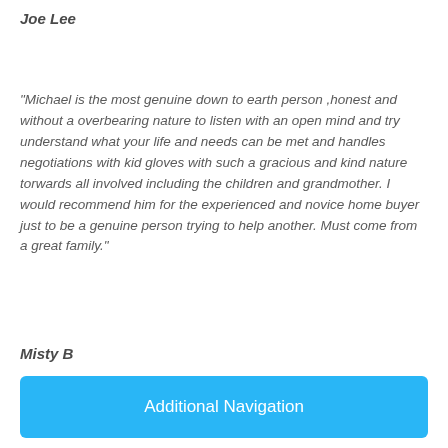Joe Lee
"Michael is the most genuine down to earth person ,honest and without a overbearing nature to listen with an open mind and try understand what your life and needs can be met and handles negotiations with kid gloves with such a gracious and kind nature torwards all involved including the children and grandmother. I would recommend him for the experienced and novice home buyer just to be a genuine person trying to help another. Must come from a great family."
Misty B
Additional Navigation